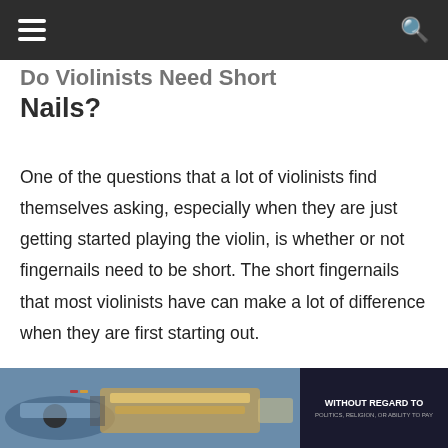Do Violinists Need Short Nails?
One of the questions that a lot of violinists find themselves asking, especially when they are just getting started playing the violin, is whether or not fingernails need to be short. The short fingernails that most violinists have can make a lot of difference when they are first starting out.
[Figure (photo): Photo of a cargo airplane being loaded, with a Southwest Airlines-style aircraft in the background. An advertisement banner on the right side reads 'WITHOUT REGARD TO'.]